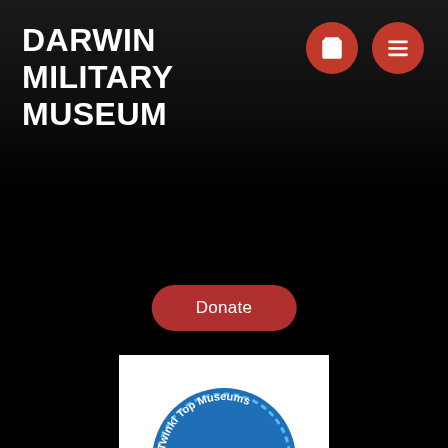DARWIN MILITARY MUSEUM
[Figure (illustration): Shopping bag icon in red circle]
[Figure (illustration): Hamburger menu icon in red circle]
Donate
[Figure (logo): Twinkl Top Museums 2022 award badge - blue rosette with ribbon, text reads Darwin Military Museum and Twinkl logo]